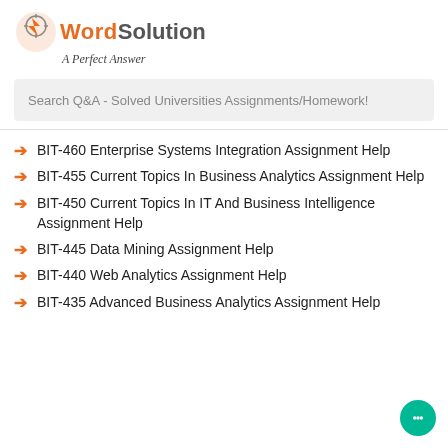[Figure (logo): My Word Solution logo with lightning bolt icon and tagline 'A Perfect Answer']
Search Q&A - Solved Universities Assignments/Homework!
BIT-460 Enterprise Systems Integration Assignment Help
BIT-455 Current Topics In Business Analytics Assignment Help
BIT-450 Current Topics In IT And Business Intelligence Assignment Help
BIT-445 Data Mining Assignment Help
BIT-440 Web Analytics Assignment Help
BIT-435 Advanced Business Analytics Assignment Help